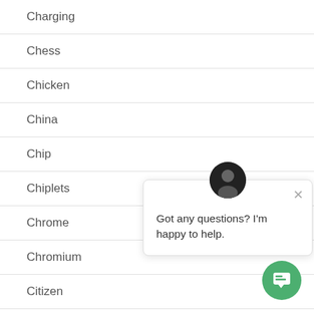Charging
Chess
Chicken
China
Chip
Chiplets
Chrome
Chromium
Citizen
City
[Figure (other): Chat popup with avatar and message 'Got any questions? I'm happy to help.' and green chat button]